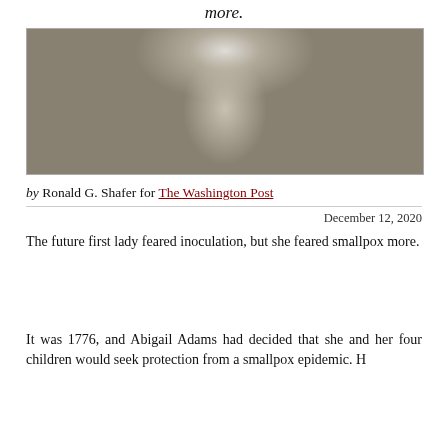more.
[Figure (photo): Black and white engraving portrait of Abigail Adams wearing a bonnet with ruffled lace trim, looking slightly to the viewer's left.]
by Ronald G. Shafer for The Washington Post
December 12, 2020
The future first lady feared inoculation, but she feared smallpox more.
It was 1776, and Abigail Adams had decided that she and her four children would seek protection from a smallpox epidemic. H...